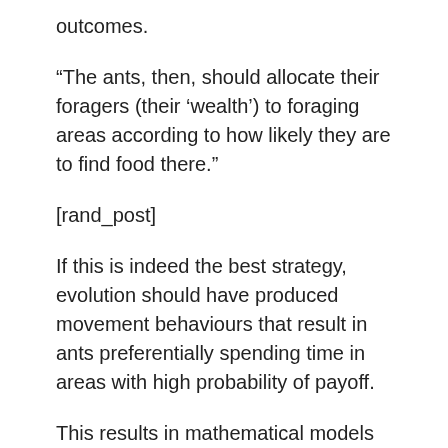outcomes.
“The ants, then, should allocate their foragers (their ‘wealth’) to foraging areas according to how likely they are to find food there.”
[rand_post]
If this is indeed the best strategy, evolution should have produced movement behaviours that result in ants preferentially spending time in areas with high probability of payoff.
This results in mathematical models of movement that can be taken directly from statistical techniques originally developed in physics, to sample from complex probability distributions that mimic the environment.